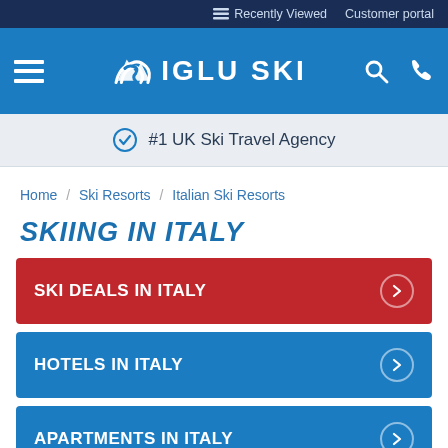Recently Viewed   Customer portal
[Figure (logo): Iglu Ski logo with hamburger menu, search and phone icons on blue navigation bar]
#1 UK Ski Travel Agency
Home / Ski Resorts / Italian Ski Resorts
SKIING IN ITALY
SKI DEALS IN ITALY
HOTELS IN ITALY
APARTMENTS IN ITALY